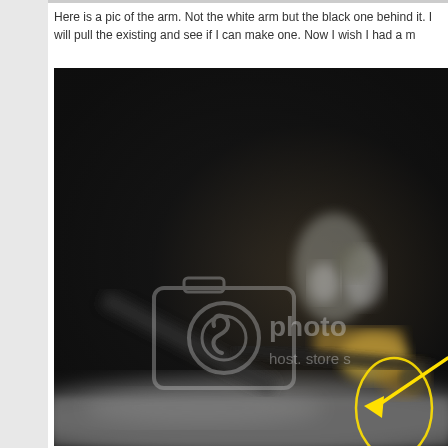Here is a pic of the arm. Not the white arm but the black one behind it. I will pull the existing and see if I can make one. Now I wish I had a m
[Figure (photo): Dark close-up photograph of mechanical arm components (black and gold/brass colored parts), with a Photobucket watermark overlay. A yellow arrow points to a specific area of the mechanism, and a yellow oval circle highlights a component. The image is blurry/out of focus showing what appears to be audio or electronic equipment parts.]